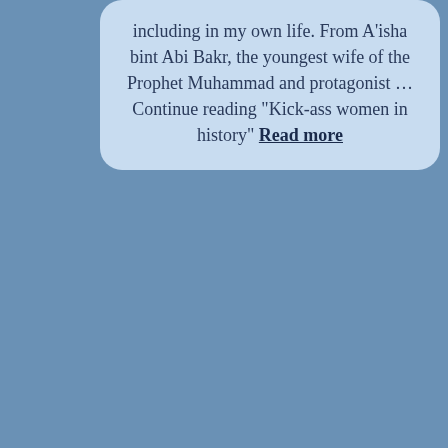including in my own life. From A'isha bint Abi Bakr, the youngest wife of the Prophet Muhammad and protagonist … Continue reading "Kick-ass women in history" Read more
[Figure (illustration): Book cover for Josephine Baker inside a decorative dark wooden frame. The title JOSEPHINE BAKER appears in large bold white text on a dark brown banner. Below is a light yellowish-green background with swirling circular patterns and a small decorative emblem.]